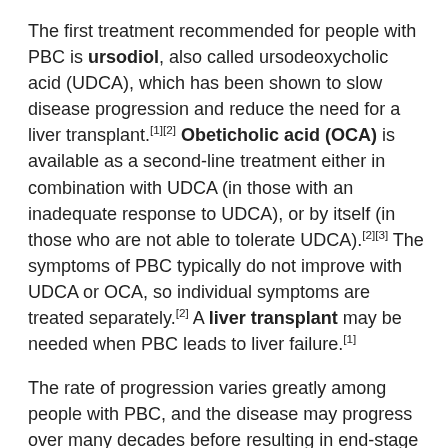The first treatment recommended for people with PBC is ursodiol, also called ursodeoxycholic acid (UDCA), which has been shown to slow disease progression and reduce the need for a liver transplant.[1][2] Obeticholic acid (OCA) is available as a second-line treatment either in combination with UDCA (in those with an inadequate response to UDCA), or by itself (in those who are not able to tolerate UDCA).[2][3] The symptoms of PBC typically do not improve with UDCA or OCA, so individual symptoms are treated separately.[2] A liver transplant may be needed when PBC leads to liver failure.[1]
The rate of progression varies greatly among people with PBC, and the disease may progress over many decades before resulting in end-stage liver disease and its complications.[2][3]